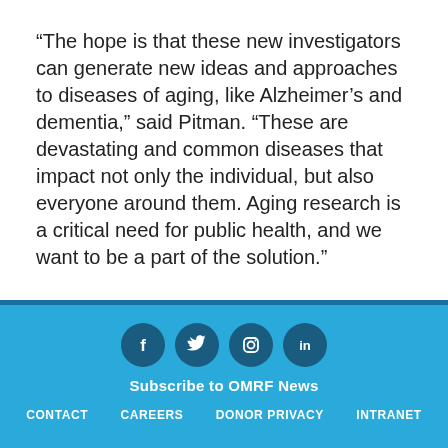“The hope is that these new investigators can generate new ideas and approaches to diseases of aging, like Alzheimer’s and dementia,” said Pitman. “These are devastating and common diseases that impact not only the individual, but also everyone around them. Aging research is a critical need for public health, and we want to be a part of the solution.”
[Figure (infographic): Social media icons (Facebook, Twitter, Instagram, LinkedIn) as white symbols on dark blue circular backgrounds, arranged horizontally.]
Subscribe to OMRF News
CONTACT   CAREERS   DONOR PRIVACY   INTRANET